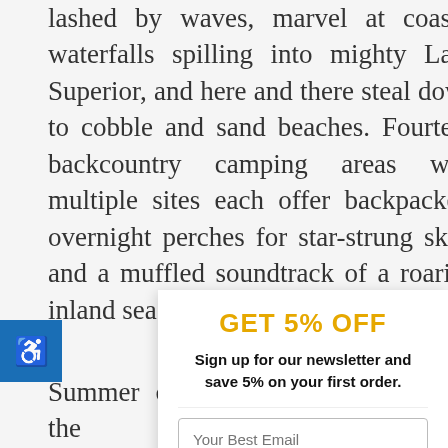lashed by waves, marvel at coastal waterfalls spilling into mighty Lake Superior, and here and there steal down to cobble and sand beaches. Fourteen backcountry camping areas with multiple sites each offer backpackers overnight perches for star-strung skies and a muffled soundtrack of a roaring inland sea.
GET 5% OFF
Sign up for our newsletter and save 5% on your first order.
Your Best Email
LET'S DO THIS
Summer offers the trekking the Pictu North Country Tra of biting insects, i flies, and stable fl coastal heights wi sure to abide by b camping practices